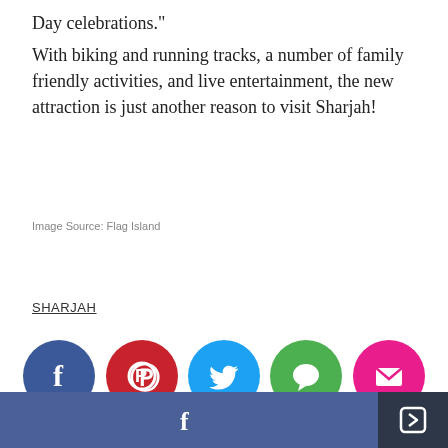Day celebrations."
With biking and running tracks, a number of family friendly activities, and live entertainment, the new attraction is just another reason to visit Sharjah!
Image Source: Flag Island
SHARJAH
[Figure (infographic): Social media sharing icons: Facebook (dark blue circle), Pinterest (red circle), Twitter (blue circle), Messages (green circle), Email (pink/magenta circle)]
[Figure (infographic): Bottom bar with Facebook share button (slate blue) and a share/export icon button (dark gray)]